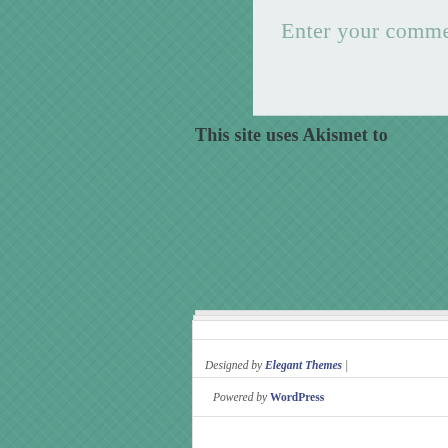[Figure (screenshot): Partial screenshot of a WordPress website showing a comment text area with placeholder text 'Enter your comment...' on a light teal/grey background, with the text 'This site uses Akismet to' visible below the comment box, and a stacked white card panel in the lower right showing footer text: 'Designed by Elegant Themes | Powered by WordPress', with horizontal ruled lines. The left portion of the page shows a teal herringbone-textured background.]